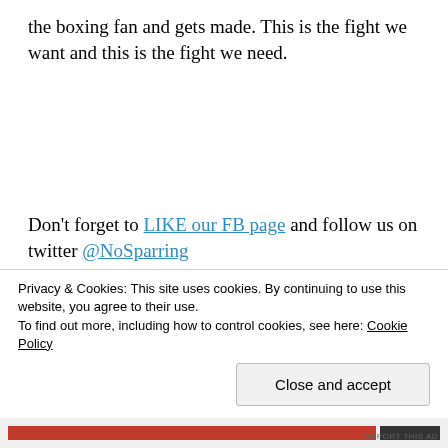the boxing fan and gets made. This is the fight we want and this is the fight we need.
Don't forget to LIKE our FB page and follow us on twitter @NoSparring
Advertisements
Privacy & Cookies: This site uses cookies. By continuing to use this website, you agree to their use.
To find out more, including how to control cookies, see here: Cookie Policy
Close and accept